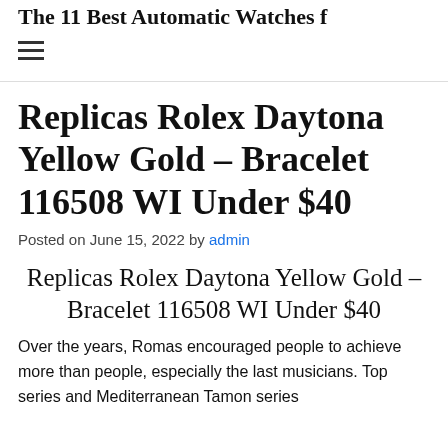The 11 Best Automatic Watches f…
Replicas Rolex Daytona Yellow Gold – Bracelet 116508 WI Under $40
Posted on June 15, 2022 by admin
Replicas Rolex Daytona Yellow Gold – Bracelet 116508 WI Under $40
Over the years, Romas encouraged people to achieve more than people, especially the last musicians. Top series and Mediterranean Tamon series…